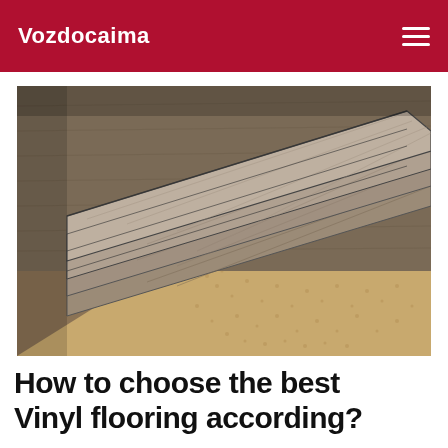Vozdocaima
[Figure (photo): Close-up photo of vinyl plank flooring planks being installed, showing wood-grain textured gray-brown planks fanned out with a cork underlay visible underneath in the lower right corner.]
How to choose the best Vinyl flooring according?